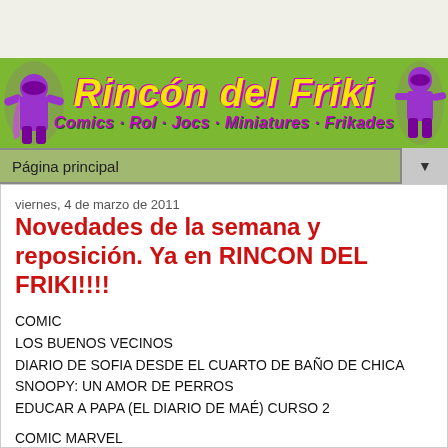[Figure (illustration): Banner for 'Rincón del Friki' website with green background, yellow italic title text, purple subtitle 'Comics · Rol · Jocs · Miniatures · Frikades', and two purple superhero character illustrations on left and right sides.]
Página principal
viernes, 4 de marzo de 2011
Novedades de la semana y reposición. Ya en RINCON DEL FRIKI!!!!
COMIC
LOS BUENOS VECINOS
DIARIO DE SOFIA DESDE EL CUARTO DE BAÑO DE CHICA
SNOOPY: UN AMOR DE PERROS
EDUCAR A PAPA (EL DIARIO DE MAÉ) CURSO 2
COMIC MARVEL